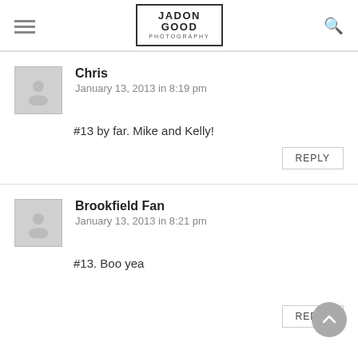JADON GOOD PHOTOGRAPHY
Chris
January 13, 2013 in 8:19 pm
#13 by far. Mike and Kelly!
Brookfield Fan
January 13, 2013 in 8:21 pm
#13. Boo yea